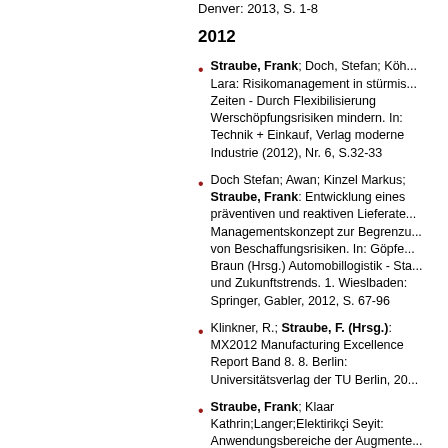Denver: 2013, S. 1-8
2012
Straube, Frank; Doch, Stefan; Köh... Lara: Risikomanagement in stürmis... Zeiten - Durch Flexibilisierung Werschöpfungsrisiken mindern. In: Technik + Einkauf, Verlag moderne Industrie (2012), Nr. 6, S.32-33
Doch Stefan; Awan; Kinzel Markus; Straube, Frank: Entwicklung eines präventiven und reaktiven Lieferate... Managementskonzept zur Begrenzu... von Beschaffungsrisiken. In: Göpfe... Braun (Hrsg.) Automobillogistik - Sta... und Zukunftstrends. 1. Wieslbaden: Springer, Gabler, 2012, S. 67-96
Klinkner, R.; Straube, F. (Hrsg.): MX2012 Manufacturing Excellence Report Band 8. 8. Berlin: Universitätsverlag der TU Berlin, 20...
Straube, Frank; Klaar Kathrin;Langer;Elektirikçi Seyit: Anwendungsbereiche der Augmente... Reality Technologie in logistischen Prozessen : Jahrbuch Logistik 2012... Wolf-Kluthhausen (Hrsg.) Jahrbuch Logistik 2012. Korschenbroich: free... beratung GmbH, 2012, S. 96-99